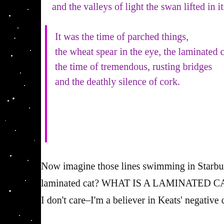and the valleys of light the swan lifted in its bea…
It was the time of parched things,
the wheat spear in the eye, the laminated cat,
the time of tremendous, rusting bridges
and the deathly silence of cork.
Now imagine those lines swimming in Starbucks C… laminated cat? WHAT IS A LAMINATED CAT? (Other… I don't care–I'm a believer in Keats' negative capab…
when man is capable of being in uncertainties, m…
any irritable reaching after fact & reason.
Which could be a handy way of getting out of ana…
If you buy any book with that holiday gift card fro…